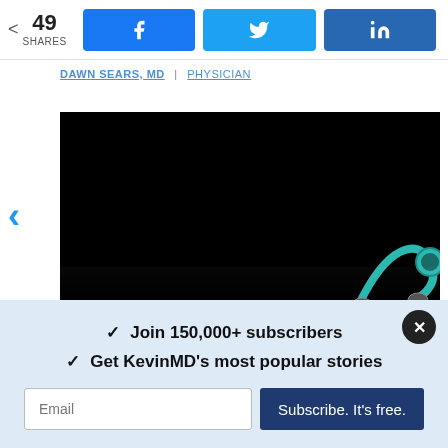49 SHARES | Facebook | Twitter | LinkedIn
DAWN SEARS, MD | PHYSICIAN
[Figure (photo): Dark background photo of a teal/turquoise stethoscope lying on a reflective surface, mostly black with stethoscope visible in lower right corner]
✓ Join 150,000+ subscribers
✓ Get KevinMD's most popular stories
Email  Subscribe. It's free.